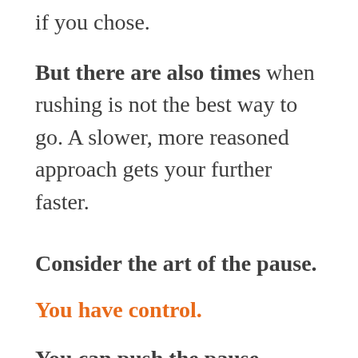if you chose.
But there are also times when rushing is not the best way to go. A slower, more reasoned approach gets your further faster.
Consider the art of the pause.
You have control.
You can push the pause button whenever you want — you just don't know it. Perhaps you think that if you don't show up to every